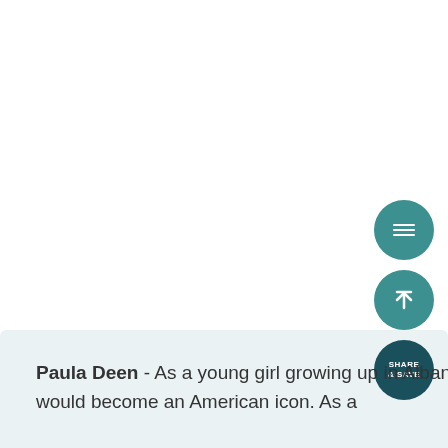[Figure (screenshot): Web page screenshot with white background in upper portion, a light blue-gray content area in lower portion, three circular teal/dark teal UI buttons on the right side (hamburger menu, scroll-to-top, and SHARE & SAVE), and body text about Paula Deen.]
Paula Deen - As a young girl growing up in Albany, Georgia, Paula Deen never dreamed she would become an American icon. As a